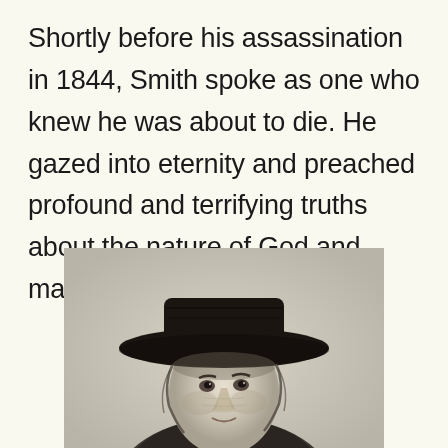Shortly before his assassination in 1844, Smith spoke as one who knew he was about to die. He gazed into eternity and preached profound and terrifying truths about the nature of God and man . . .
[Figure (illustration): Black and white engraving portrait of a man wearing a wide-brimmed hat, shown from the shoulders up, facing slightly to the right.]